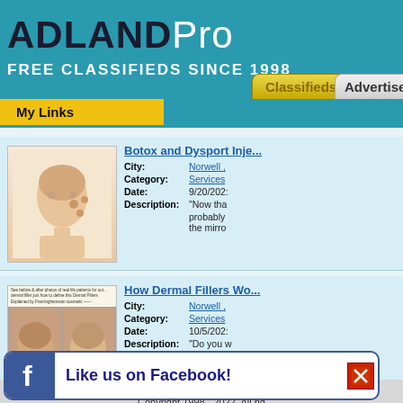ADLANDPro — FREE CLASSIFIEDS SINCE 1998
My Links
Botox and Dysport Inje...
City: Norwell ,
Category: Services
Date: 9/20/202:
Description: "Now tha probably the mirro
How Dermal Fillers Wo...
City: Norwell ,
Category: Services
Date: 10/5/202:
Description: "Do you w One incre to consid
Mobile Site | Stores | Contact Us | Testimonials | Become a...
Copyright 1998 - 2022, All rig
Like us on Facebook!